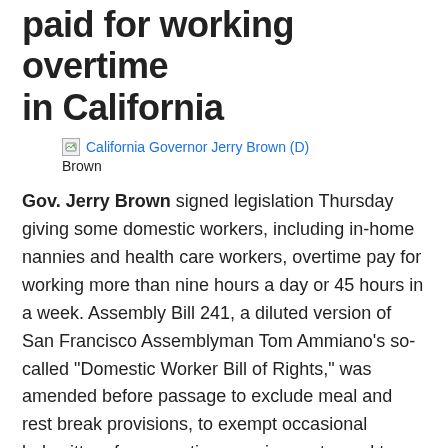paid for working overtime in California
[Figure (photo): Broken image placeholder for California Governor Jerry Brown (D) with caption 'Brown']
Gov. Jerry Brown signed legislation Thursday giving some domestic workers, including in-home nannies and health care workers, overtime pay for working more than nine hours a day or 45 hours in a week. Assembly Bill 241, a diluted version of San Francisco Assemblyman Tom Ammiano’s so-called “Domestic Worker Bill of Rights,” was amended before passage to exclude meal and rest break provisions, to exempt occasional babysitters from overtime requirements, and to include a three-year sunset provision. Brown vetoed a broader version of the bill last year. Sacramento Bee, 9-26-13.
Tribes also win right to do more